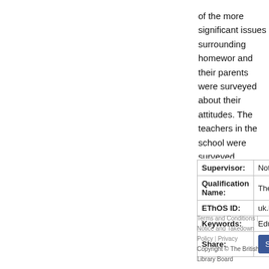of the more significant issues surrounding homework and their parents were surveyed about their attitudes. The teachers in the school were surveyed separately through the Vellis project at the University of Durham grades than might have been expected, and a second pupils' cohort in relation to their data about homework results at GCSE. 2. Pupils expressed a view that gre perceived by the majority of pupils of all ages as easy through the Merit Mark scheme. 5. There is a wide va pupils report spending less time on homework than th appreciated by many. 7. The use of work space appre variation. 8. Parents request advice on how to suppo the school's and/or their department's Homework Pol feedback is viewed and understood. The conclusions attainment as identified in terms of a value added app gathered in this study suggests needs further explora
| Field | Value |
| --- | --- |
| Supervisor: | Not available |
| Qualification Name: | Thesis (Ph.D.) |
| EThOS ID: | uk.bl.ethos.478947 |
| Keywords: | Education |
| Share: | Share |
Terms and Conditions | Notice and Takedown Policy | Privacy
Copyright © The British Library Board